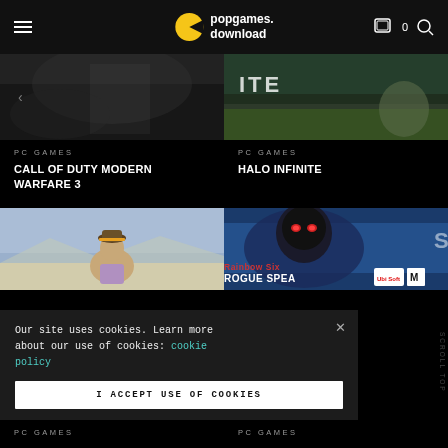popgames.download
[Figure (screenshot): Call of Duty Modern Warfare 3 game cover - dark monochrome soldier]
PC GAMES
CALL OF DUTY MODERN WARFARE 3
[Figure (screenshot): Halo Infinite game cover - outdoor scene with text ITE visible]
PC GAMES
HALO INFINITE
[Figure (screenshot): GTA-style game - person standing in desert landscape]
[Figure (screenshot): Rainbow Six Rogue Spear Black Thorn game box art]
Our site uses cookies. Learn more about our use of cookies: cookie policy
I ACCEPT USE OF COOKIES
PC GAMES
PC GAMES